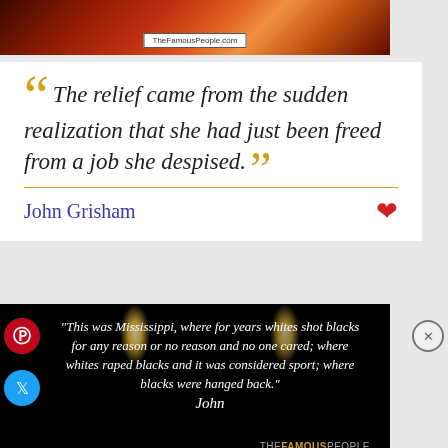[Figure (photo): Dark background image with warm orange/red gradient, TheFamousPeople.com watermark]
The relief came from the sudden realization that she had just been freed from a job she despised.
John Grisham
[Figure (photo): Dark image with candle flames, quote text overlay: This was Mississippi, where for years whites shot blacks for any reason or no reason and no one cared; where whites raped blacks and it was considered sport; where blacks were hanged back. John. THEFAMOUSPEOPLE. TheFamousPeople.com]
This was Mississipp